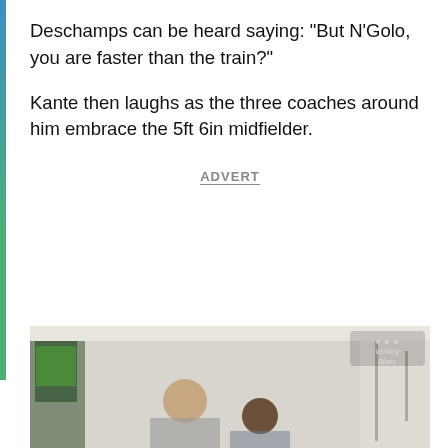Deschamps can be heard saying: "But N'Golo, you are faster than the train?"
Kante then laughs as the three coaches around him embrace the 5ft 6in midfielder.
ADVERT
[Figure (photo): Photo of people in a room, partially visible, with a watermark logo in the top right corner.]